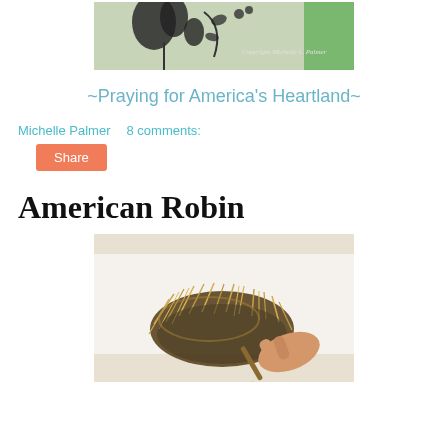[Figure (photo): A botanical illustration or artwork showing dark plant/flower silhouettes on a light background, with 'Copyright Michelle L. Palmer' text overlay.]
~Praying for America's Heartland~
Michelle Palmer    8 comments:
Share
American Robin
[Figure (photo): A photograph of a bird's nest made of dry grass and straw, with a hand holding a pencil drawing it, on a white surface.]